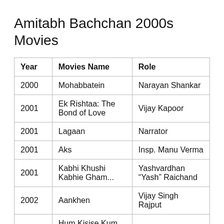Amitabh Bachchan 2000s Movies
| Year | Movies Name | Role |
| --- | --- | --- |
| 2000 | Mohabbatein | Narayan Shankar |
| 2001 | Ek Rishtaa: The Bond of Love | Vijay Kapoor |
| 2001 | Lagaan | Narrator |
| 2001 | Aks | Insp. Manu Verma |
| 2001 | Kabhi Khushi Kabhie Gham... | Yashvardhan “Yash” Raichand |
| 2002 | Aankhen | Vijay Singh Rajput |
|  | Hum Kisise Kum Nahin |  |